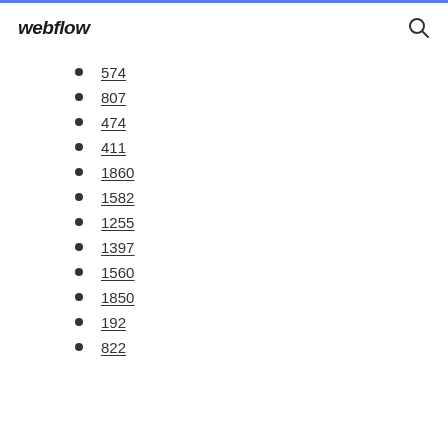webflow
574
807
474
411
1860
1582
1255
1397
1560
1850
192
822